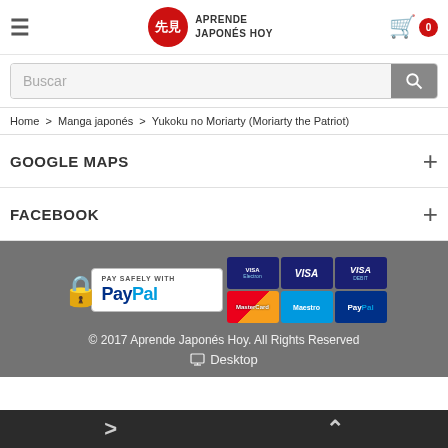Aprende Japonés Hoy — cart: 0
Buscar
Home > Manga japonés > Yukoku no Moriarty (Moriarty the Patriot)
GOOGLE MAPS
FACEBOOK
[Figure (logo): PayPal Pay Safely badge with payment card logos: Visa Electron, Visa, Visa Debit, MasterCard, Maestro, PayPal]
© 2017 Aprende Japonés Hoy. All Rights Reserved
Desktop